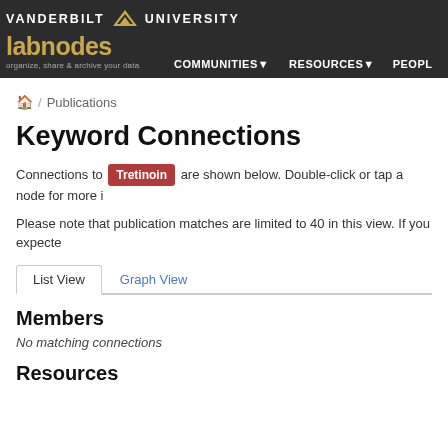VANDERBILT UNIVERSITY — labnodes — organize, share & archive your data — COMMUNITIES — RESOURCES — PEOPLE
/ Publications
Keyword Connections
Connections to Tretinoin are shown below. Double-click or tap a node for more i
Please note that publication matches are limited to 40 in this view. If you expecte
List View  Graph View
Members
No matching connections
Resources